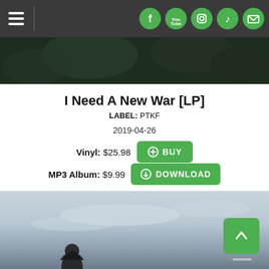Navigation bar with hamburger menu and social icons (Facebook, YouTube, Instagram, TikTok, Email)
[Figure (photo): Dark green foliage photo strip at top]
I Need A New War [LP]
LABEL: PTKF
2019-04-26
Vinyl: $25.98 [BUY button]
MP3 Album: $9.99 [DOWNLOAD button]
[Figure (photo): Sky and silhouette photo at bottom of page]